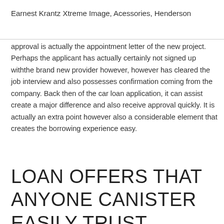Earnest Krantz Xtreme Image, Acessories, Henderson
approval is actually the appointment letter of the new project. Perhaps the applicant has actually certainly not signed up withthe brand new provider however, however has cleared the job interview and also possesses confirmation coming from the company. Back then of the car loan application, it can assist create a major difference and also receive approval quickly. It is actually an extra point however also a considerable element that creates the borrowing experience easy.
LOAN OFFERS THAT ANYONE CANISTER EASILY TRUST